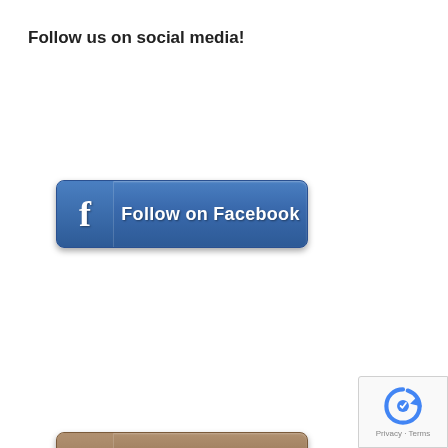Follow us on social media!
[Figure (illustration): Blue Facebook follow button with white 'f' icon on left and text 'Follow on Facebook']
[Figure (illustration): Brown/tan Instagram follow button with rainbow-colored Insta icon on left and cursive text 'Follow on Instagram']
[Figure (illustration): Light blue Twitter follow button with white bird icon on left and text 'Follow on Twitter']
[Figure (logo): Google reCAPTCHA badge in bottom-right corner with recaptcha icon and 'Privacy - Terms' text]